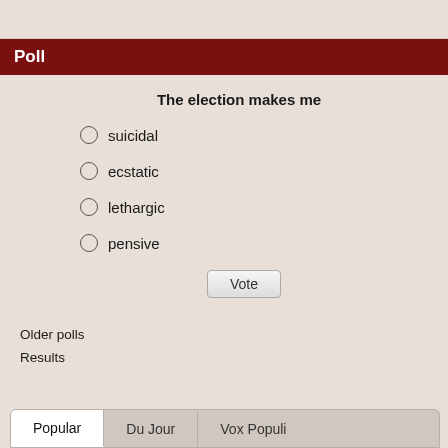Poll
The election makes me
suicidal
ecstatic
lethargic
pensive
Vote
Older polls
Results
Popular	Du Jour	Vox Populi